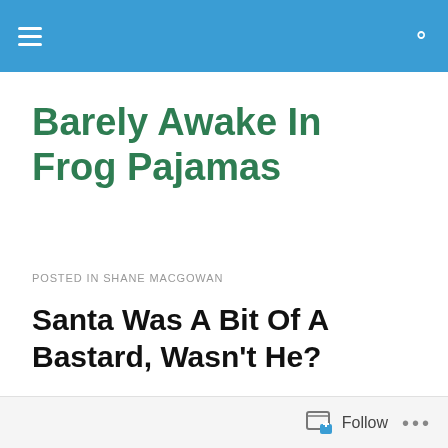navigation bar with hamburger menu and search icon
Barely Awake In Frog Pajamas
POSTED IN SHANE MACGOWAN
Santa Was A Bit Of A Bastard, Wasn't He?
[Figure (photo): Photo of a red Santa hat against a blue sky background]
Follow ...